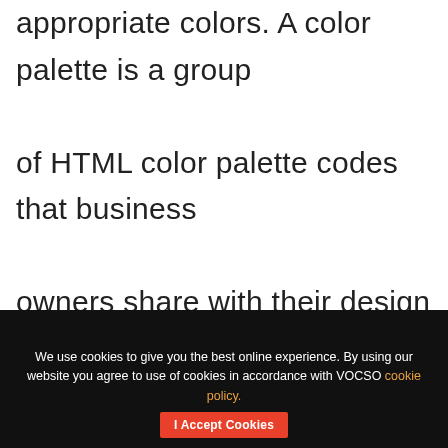appropriate colors. A color palette is a group of HTML color palette codes that business owners share with their design team to create their designs.
We use cookies to give you the best online experience. By using our website you agree to use of cookies in accordance with VOCSO cookie policy. | I Accept Cookies